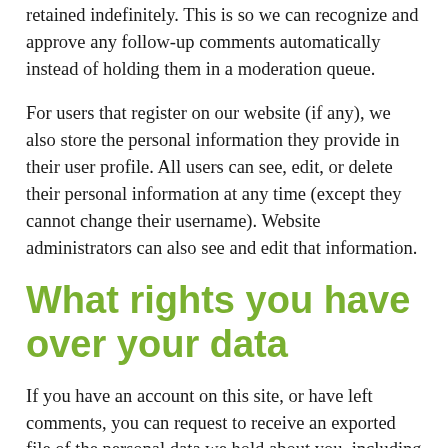retained indefinitely. This is so we can recognize and approve any follow-up comments automatically instead of holding them in a moderation queue.
For users that register on our website (if any), we also store the personal information they provide in their user profile. All users can see, edit, or delete their personal information at any time (except they cannot change their username). Website administrators can also see and edit that information.
What rights you have over your data
If you have an account on this site, or have left comments, you can request to receive an exported file of the personal data we hold about you, including any data you have provided to us. You can also request that we erase any personal data we hold about you. This does not include any